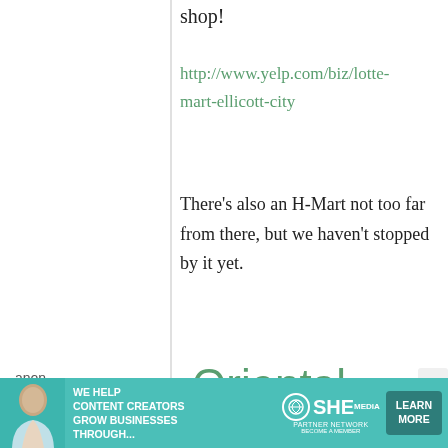shop!
http://www.yelp.com/biz/lotte-mart-ellicott-city
There's also an H-Mart not too far from there, but we haven't stopped by it yet.
anon.
13 March, 2013 - 16:50
permalink
Oriental Store in Kansas&!
[Figure (infographic): Advertisement banner: SHE Media Partner Network - We help content creators grow businesses through... Learn More button]
X